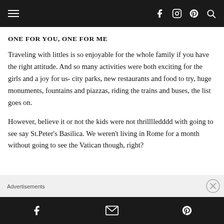≡   f  ⊙  ⊕  🔍
ONE FOR YOU, ONE FOR ME
Traveling with littles is so enjoyable for the whole family if you have the right attitude. And so many activities were both exciting for the girls and a joy for us- city parks, new restaurants and food to try, huge monuments, fountains and piazzas, riding the trains and buses, the list goes on.
However, believe it or not the kids were not thrilllledddd with going to see say St.Peter's Basilica. We weren't living in Rome for a month without going to see the Vatican though, right?
Advertisements
f  ✉  p